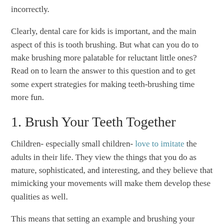incorrectly.
Clearly, dental care for kids is important, and the main aspect of this is tooth brushing. But what can you do to make brushing more palatable for reluctant little ones? Read on to learn the answer to this question and to get some expert strategies for making teeth-brushing time more fun.
1. Brush Your Teeth Together
Children- especially small children- love to imitate the adults in their life. They view the things that you do as mature, sophisticated, and interesting, and they believe that mimicking your movements will make them develop these qualities as well.
This means that setting an example and brushing your